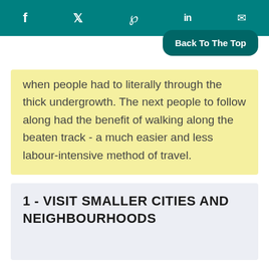f  𝕋  ℘  in  ✉
when people had to literally through the thick undergrowth. The next people to follow along had the benefit of walking along the beaten track - a much easier and less labour-intensive method of travel.
1 - VISIT SMALLER CITIES AND NEIGHBOURHOODS